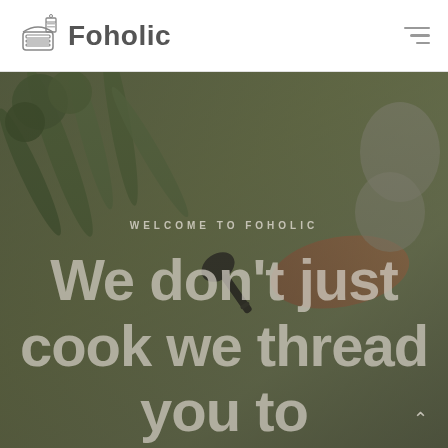Foholic
[Figure (photo): Background food photograph showing vegetables including broccoli, green beans, and a carrot, overlaid with a semi-transparent dark tint. A black spatula/pan icon is visible in the center.]
WELCOME TO FOHOLIC
We don’t just cook we thread you to